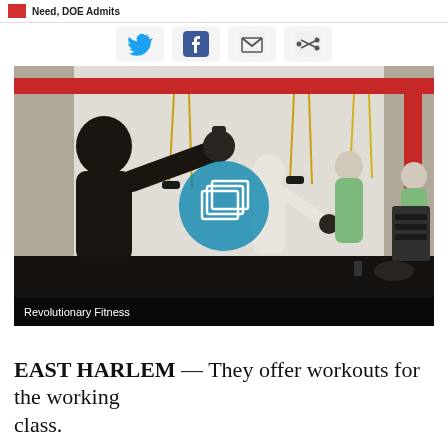Need, DOE Admits
[Figure (photo): People doing kettlebell workouts inside Revolutionary Fitness gym, with red beams on ceiling, TRX straps on wall, and black rubber floor mats. A gallery overlay circle icon appears in the center of the image.]
Revolutionary Fitness
EAST HARLEM — They offer workouts for the working class.